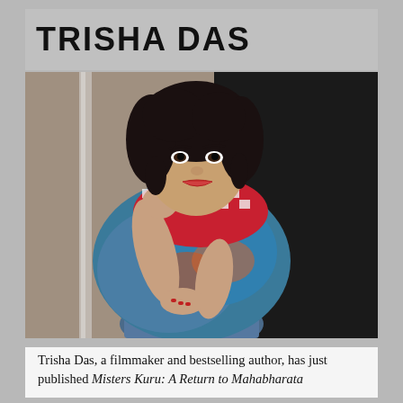TRISHA DAS
[Figure (photo): Portrait photograph of Trisha Das, a woman with dark curly hair, red lips, wearing a colorful paisley shawl/scarf with red and white checkered pattern, seated against a stone wall background]
Trisha Das, a filmmaker and bestselling author, has just published Misters Kuru: A Return to Mahabharata